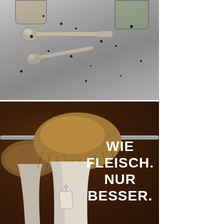[Figure (photo): Overhead shot of spoons and glass jars with spices/peppercorns on a grey metal surface]
[Figure (photo): Oyster mushroom cluster hanging on a metal hook/rail against a dark brown background, with advertising text 'WIE FLEISCH. NUR BESSER.' (Like meat. Only better.)]
WIE FLEISCH. NUR BESSER.